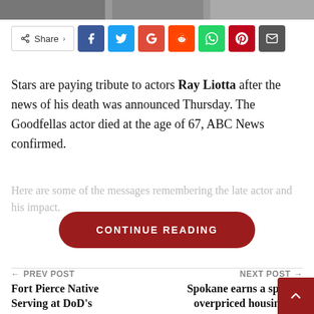[Figure (photo): Top portion of an image strip showing partial photo content at the very top of the page]
[Figure (infographic): Social sharing bar with Share label and buttons for Facebook (blue), Twitter (light blue), Google (red), Reddit (orange), WhatsApp (green), Pinterest (dark red), Email (dark gray)]
Stars are paying tribute to actors Ray Liotta after the news of his death was announced Thursday. The Goodfellas actor died at the age of 67, ABC News confirmed.
Here are some of the messages remembering the late actor and his impact.
CONTINUE READING
← PREV POST
Fort Pierce Native Serving at DoD's
NEXT POST →
Spokane earns a spot on overpriced housing list